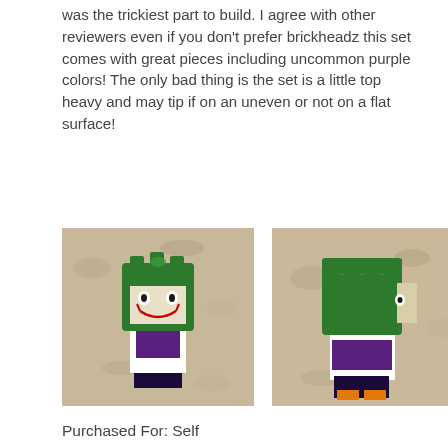was the trickiest part to build. I agree with other reviewers even if you don't prefer brickheadz this set comes with great pieces including uncommon purple colors! The only bad thing is the set is a little top heavy and may tip if on an uneven or not on a flat surface!
[Figure (photo): Photo of a LEGO Joker BrickHeadz figure on a granite surface, front view showing the green hair and white/purple body]
[Figure (photo): Photo of a LEGO BrickHeadz figure on a granite surface, side/back view showing green hair]
Purchased For: Self
Play Experience :
[Figure (infographic): Rating: 3 out of 5 yellow LEGO brick icons, 2 grey LEGO brick icons]
Value for Money :
[Figure (infographic): Rating: 5 out of 5 yellow LEGO brick icons]
Level of Difficulty: